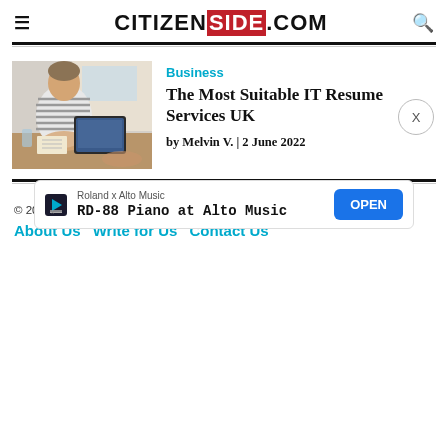CITIZENSIDE.COM
[Figure (photo): Person at desk with tablet device during a meeting or interview]
Business
The Most Suitable IT Resume Services UK
by Melvin V. | 2 June 2022
© 2022 Citizenside.com. All Rights Reserved.
About Us   Write for Us   Contact Us
[Figure (other): Advertisement: Roland x Alto Music - RD-88 Piano at Alto Music, OPEN button]